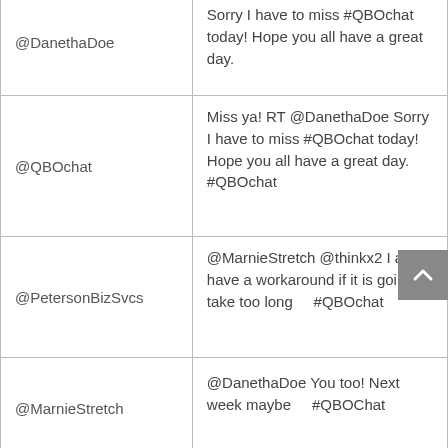| User | Tweet |
| --- | --- |
| @DanethaDoe | Sorry I have to miss #QBOchat today! Hope you all have a great day. |
| @QBOchat | Miss ya! RT @DanethaDoe Sorry I have to miss #QBOchat today! Hope you all have a great day. #QBOchat |
| @PetersonBizSvcs | @MarnieStretch @thinkx2 I also have a workaround if it is going to take too long    #QBOchat |
| @MarnieStretch | @DanethaDoe You too! Next week maybe    #QBOChat |
| @QBOchat | A2: To access invoice customization options, go to Company Settings &gt; Sales &gt; Customize. #QBOchat |
|  | Love that if you delete an |